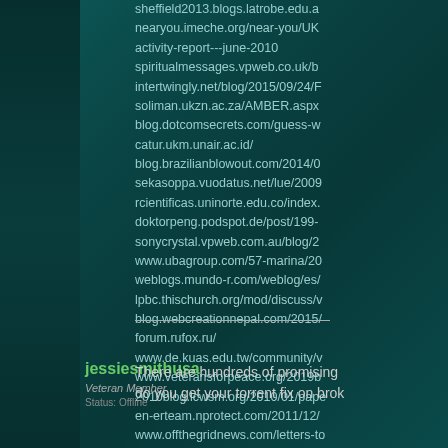sheffield2013.blogs.latrobe.edu.a
nearyou.imeche.org/near-you/UK
activity-report---june-2010
spiritualmessages.vpweb.co.uk/b
intertwingly.net/blog/2015/09/24/F
soliman.ukzn.ac.za/AMBER.aspx
blog.dotcomsecrets.com/guess-w
catur.ukm.unair.ac.id/
blog.brazilianblowout.com/2014/0
sekasoppa.vuodatus.net/lue/2009
rcientificas.uninorte.edu.co/index.
doktorpeng.podspot.de/post/199-
sonycrystal.vpweb.com.au/blog/2
www.ubagroup.com/57-marina/20
weblogs.mundo-r.com/weblog/es/
lpbc.thischurch.org/mod/discuss/v
blog.webcreationnepal.com/2015/
forum.rufox.ru/
www.de.kuas.edu.tw/community/v
www.veteransforpeace.org/2019b
2010blog.icwsm.org/2010/01/pape
en-erteam.nprotect.com/2011/12/
www.offthegridnews.com/letters-to
www.freeadwordsscripts.com/201
roadtrip.yearone.com/2010/12/che
freegoodiesfordesigners.blogspot
jessiesmithusa
Veteran Member
Status: Offline
There are hundreds of promising do you get your torrent fix on brok